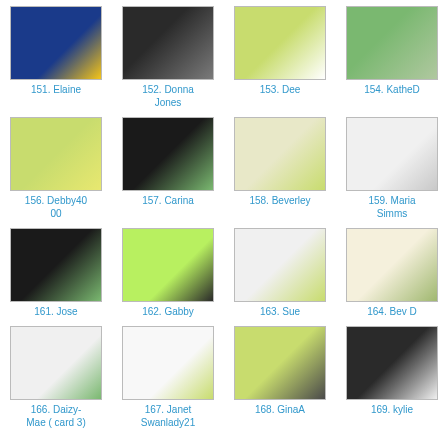[Figure (photo): Grid of crafting card thumbnails with names and numbers]
151. Elaine
152. Donna Jones
153. Dee
154. KatheD
156. Debby4000
157. Carina
158. Beverley
159. Maria Simms
161. Jose
162. Gabby
163. Sue
164. Bev D
166. Daizy-Mae ( card 3)
167. Janet Swanlady21
168. GinaA
169. kylie